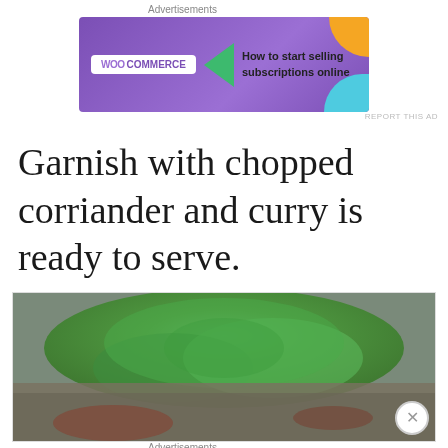Advertisements
[Figure (infographic): WooCommerce advertisement banner: purple background with WooCommerce logo, green arrow, text 'How to start selling subscriptions online', orange and teal decorative shapes]
REPORT THIS AD
Garnish with chopped corriander and curry is ready to serve.
[Figure (photo): Close-up photo of chopped fresh green coriander/herbs on a surface]
Advertisements
[Figure (infographic): Macy's advertisement: dark red background with text 'KISS BORING LIPS GOODBYE', photo of woman, SHOP NOW button, Macy's star logo]
REPORT THIS AD